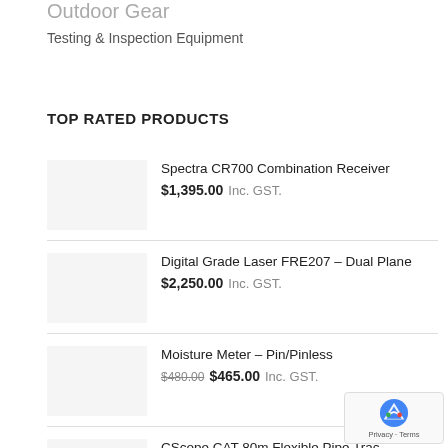Outdoor Gear
Testing & Inspection Equipment
TOP RATED PRODUCTS
Spectra CR700 Combination Receiver
$1,395.00 Inc. GST.
Digital Grade Laser FRE207 – Dual Plane
$2,250.00 Inc. GST.
Moisture Meter – Pin/Pinless
$480.00 $465.00 Inc. GST.
CScope CAT 80m Flexible Pipe Trac…
$2,145.00 Inc. GST.